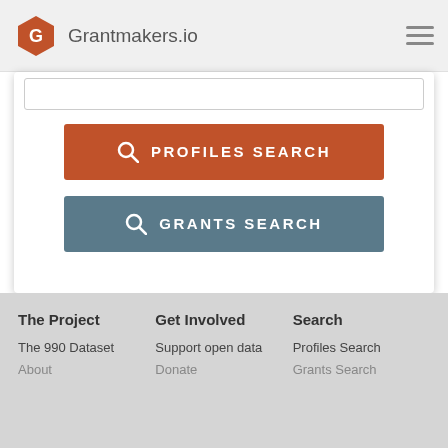Grantmakers.io
[Figure (screenshot): Grantmakers.io website screenshot showing logo, navigation hamburger menu, search buttons for Profiles Search and Grants Search, and footer links]
PROFILES SEARCH
GRANTS SEARCH
The Project
Get Involved
Search
The 990 Dataset
Support open data
Profiles Search
About
Donate
Grants Search